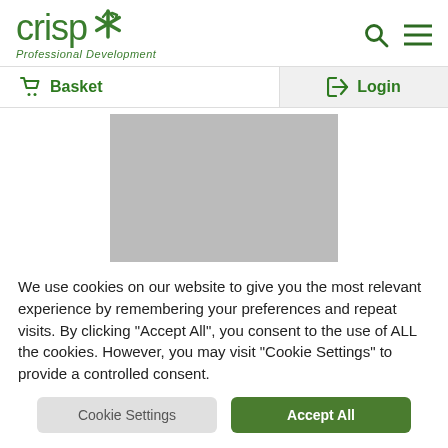[Figure (logo): Crisp Professional Development logo with green asterisk star icon and green text]
[Figure (other): Navigation icons: search magnifying glass and hamburger menu]
Basket
Login
[Figure (photo): Grey placeholder image rectangle]
We use cookies on our website to give you the most relevant experience by remembering your preferences and repeat visits. By clicking "Accept All", you consent to the use of ALL the cookies. However, you may visit "Cookie Settings" to provide a controlled consent.
Cookie Settings
Accept All